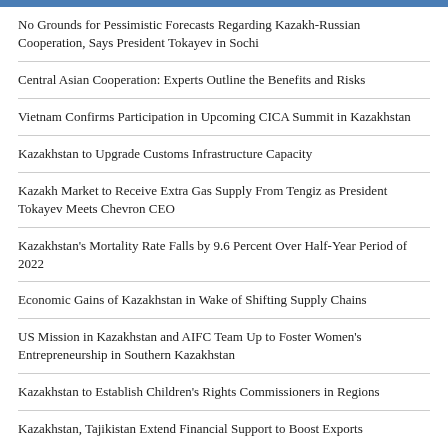No Grounds for Pessimistic Forecasts Regarding Kazakh-Russian Cooperation, Says President Tokayev in Sochi
Central Asian Cooperation: Experts Outline the Benefits and Risks
Vietnam Confirms Participation in Upcoming CICA Summit in Kazakhstan
Kazakhstan to Upgrade Customs Infrastructure Capacity
Kazakh Market to Receive Extra Gas Supply From Tengiz as President Tokayev Meets Chevron CEO
Kazakhstan's Mortality Rate Falls by 9.6 Percent Over Half-Year Period of 2022
Economic Gains of Kazakhstan in Wake of Shifting Supply Chains
US Mission in Kazakhstan and AIFC Team Up to Foster Women's Entrepreneurship in Southern Kazakhstan
Kazakhstan to Establish Children's Rights Commissioners in Regions
Kazakhstan, Tajikistan Extend Financial Support to Boost Exports